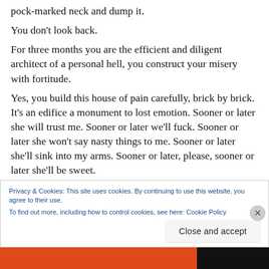pock-marked neck and dump it. You don't look back. For three months you are the efficient and diligent architect of a personal hell, you construct your misery with fortitude. Yes, you build this house of pain carefully, brick by brick. It's an edifice a monument to lost emotion. Sooner or later she will trust me. Sooner or later we'll fuck. Sooner or later she won't say nasty things to me. Sooner or later she'll sink into my arms. Sooner or later, please, sooner or later she'll be sweet.
Privacy & Cookies: This site uses cookies. By continuing to use this website, you agree to their use. To find out more, including how to control cookies, see here: Cookie Policy
Close and accept